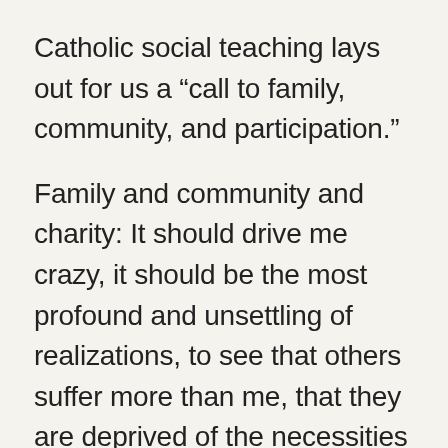Catholic social teaching lays out for us a “call to family, community, and participation.”
Family and community and charity: It should drive me crazy, it should be the most profound and unsettling of realizations, to see that others suffer more than me, that they are deprived of the necessities that I possess. This other